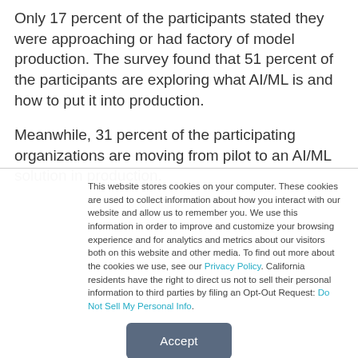Only 17 percent of the participants stated they were approaching or had factory of model production. The survey found that 51 percent of the participants are exploring what AI/ML is and how to put it into production.
Meanwhile, 31 percent of the participating organizations are moving from pilot to an AI/ML solution in production.
This website stores cookies on your computer. These cookies are used to collect information about how you interact with our website and allow us to remember you. We use this information in order to improve and customize your browsing experience and for analytics and metrics about our visitors both on this website and other media. To find out more about the cookies we use, see our Privacy Policy. California residents have the right to direct us not to sell their personal information to third parties by filing an Opt-Out Request: Do Not Sell My Personal Info.